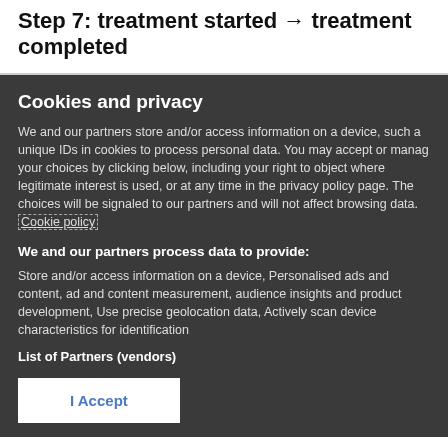Step 7: treatment started → treatment completed
Cookies and privacy
We and our partners store and/or access information on a device, such as unique IDs in cookies to process personal data. You may accept or manage your choices by clicking below, including your right to object where legitimate interest is used, or at any time in the privacy policy page. These choices will be signaled to our partners and will not affect browsing data. Cookie policy
We and our partners process data to provide:
Store and/or access information on a device, Personalised ads and content, ad and content measurement, audience insights and product development, Use precise geolocation data, Actively scan device characteristics for identification
List of Partners (vendors)
I Accept